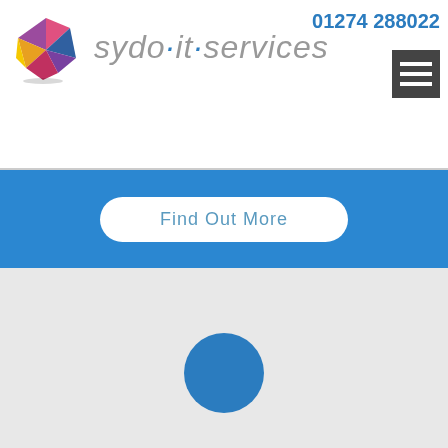[Figure (logo): Sydo IT Services logo with colorful geometric gem shape and company name 'sydo·it·services' in grey italic text]
01274 288022
[Figure (other): Dark grey hamburger menu button with three white horizontal lines]
Find Out More
[Figure (map): Grey map area with a blue circular map location pin marker in the center]